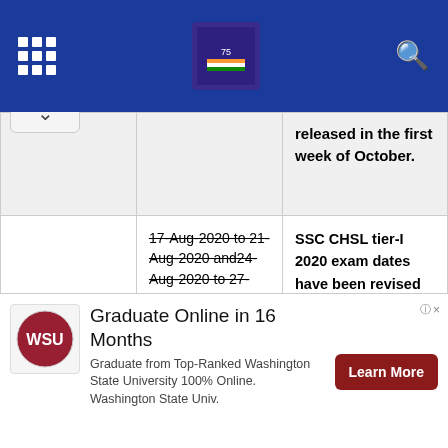Navigation bar with grid menu, India@75 logo, and search icon
|  | Dates | Remarks |
| --- | --- | --- |
|  |  | released in the first week of October. |
| Tier-I exam | 17-Aug-2020 to 21-Aug-2020 and24-Aug-2020 to 27-Aug-202012-Oct-2020 to 16-Oct-2020, 19-Oct-2020 to 21-Oct- | SSC CHSL tier-I 2020 exam dates have been revised again for candidates who were not able to take the exam due to Coronavirus. The SSC CHSL exam |
[Figure (other): Advertisement: Graduate Online in 16 Months - Washington State University 100% Online. Learn More button.]